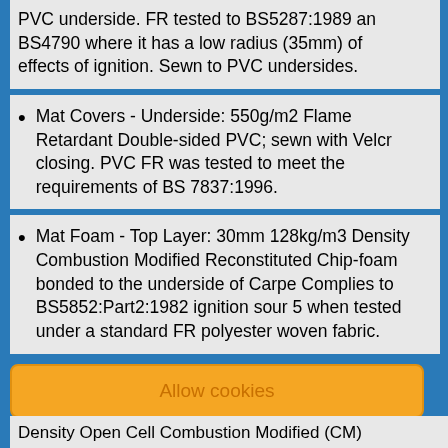PVC underside. FR tested to BS5287:1989 and BS4790 where it has a low radius (35mm) of effects of ignition. Sewn to PVC undersides.
Mat Covers - Underside: 550g/m2 Flame Retardant Double-sided PVC; sewn with Velcro closing. PVC FR was tested to meet the requirements of BS 7837:1996.
Mat Foam - Top Layer: 30mm 128kg/m3 Density Combustion Modified Reconstituted Chip-foam bonded to the underside of Carpet. Complies to BS5852:Part2:1982 ignition source 5 when tested under a standard FR polyester woven fabric.
Allow cookies
Density Open Cell Combustion Modified (CM)